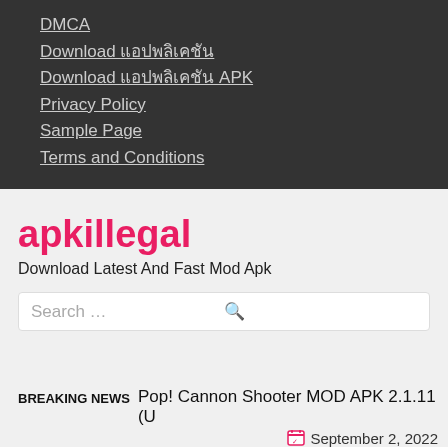Menu
DMCA
Download แอปพลิเคชัน
Download แอปพลิเคชัน APK
Privacy Policy
Sample Page
Terms and Conditions
apkillegal
Download Latest And Fast Mod Apk
Search …
BREAKING NEWS  Pop! Cannon Shooter MOD APK 2.1.11 (U  September 2, 2022